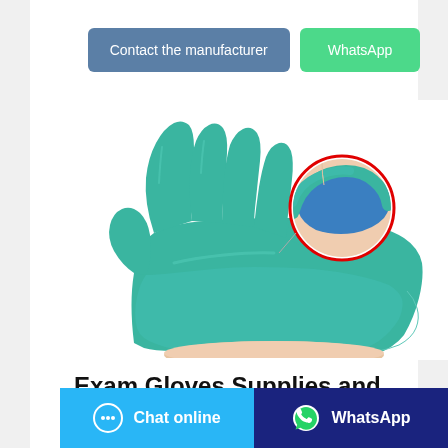[Figure (other): Two buttons side by side: a steel-blue 'Contact the manufacturer' button and a green 'WhatsApp' button]
[Figure (photo): A teal/green exam glove being worn on a hand, with a circular inset close-up showing the cuff area with a blue lining detail.]
Exam Gloves Supplies and Products
[Figure (other): Bottom bar with two buttons: a light blue 'Chat online' button with chat icon, and a dark blue 'WhatsApp' button with WhatsApp icon]